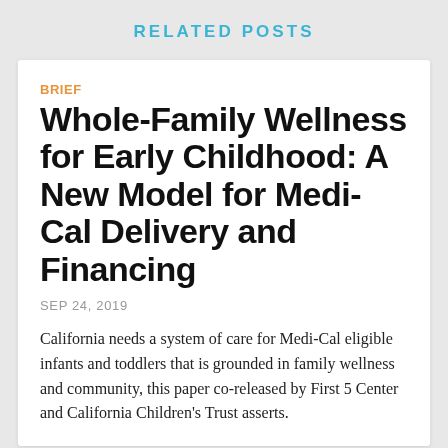RELATED POSTS
BRIEF
Whole-Family Wellness for Early Childhood: A New Model for Medi-Cal Delivery and Financing
SEP 24, 2019
California needs a system of care for Medi-Cal eligible infants and toddlers that is grounded in family wellness and community, this paper co-released by First 5 Center and California Children's Trust asserts.